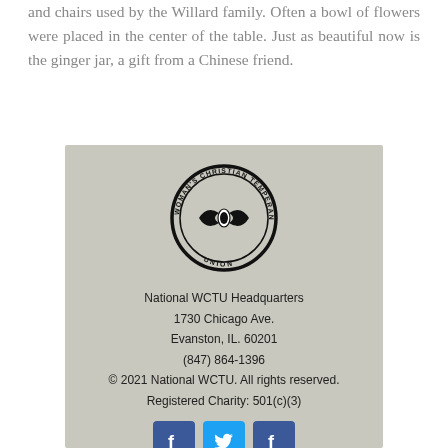and chairs used by the Willard family. Often a bowl of flowers were placed in the center of the table. Just as beautiful now is the ginger jar, a gift from a Chinese friend.
[Figure (logo): Woman's Christian Temperance Union circular seal with a bow tie graphic in the center]
National WCTU Headquarters
1730 Chicago Ave.
Evanston, IL. 60201
(847) 864-1396
© 2021 National WCTU. All rights reserved.
Registered Charity: 501(c)(3)
[Figure (illustration): Social media icons: Facebook, Twitter, Facebook]